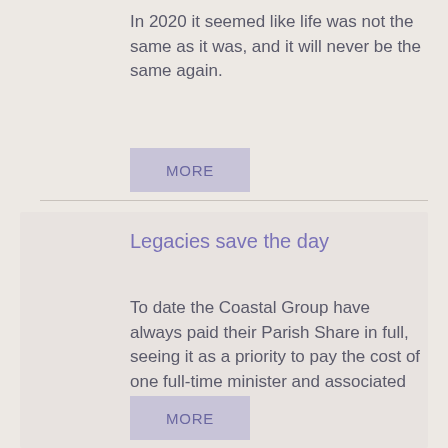In 2020 it seemed like life was not the same as it was, and it will never be the same again.
MORE
Legacies save the day
To date the Coastal Group have always paid their Parish Share in full, seeing it as a priority to pay the cost of one full-time minister and associated support.
MORE